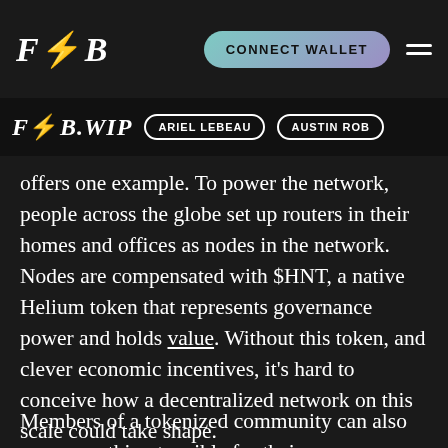FWB – CONNECT WALLET (navigation bar screenshot)
cooperatives to more easily bootstrap when
FWB.WIP   ARIEL LEBEAU   AUSTIN ROB
offers one example. To power the network, people across the globe set up routers in their homes and offices as nodes in the network. Nodes are compensated with $HNT, a native Helium token that represents governance power and holds value. Without this token, and clever economic incentives, it's hard to conceive how a decentralized network on this scale could take shape.
Members of a tokenized community can also earn something tangible for their